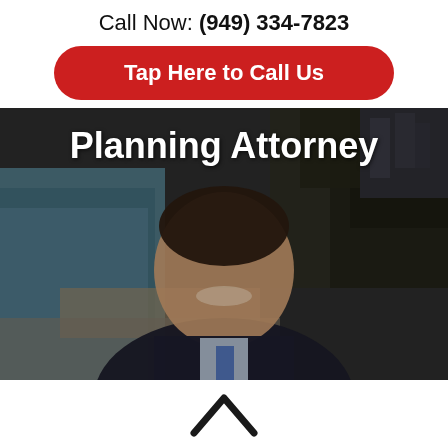Call Now: (949) 334-7823
Tap Here to Call Us
[Figure (photo): Attorney headshot overlaid on aerial coastal/beach background with text 'Planning Attorney' visible at top]
[Figure (logo): Partial logo / chevron icon at bottom center of page]